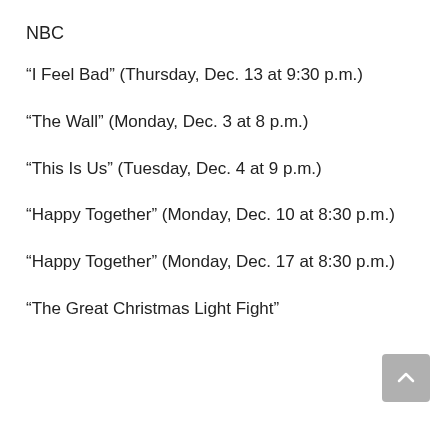NBC
“I Feel Bad” (Thursday, Dec. 13 at 9:30 p.m.)
“The Wall” (Monday, Dec. 3 at 8 p.m.)
“This Is Us” (Tuesday, Dec. 4 at 9 p.m.)
“Happy Together” (Monday, Dec. 10 at 8:30 p.m.)
“Happy Together” (Monday, Dec. 17 at 8:30 p.m.)
“The Great Christmas Light Fight”